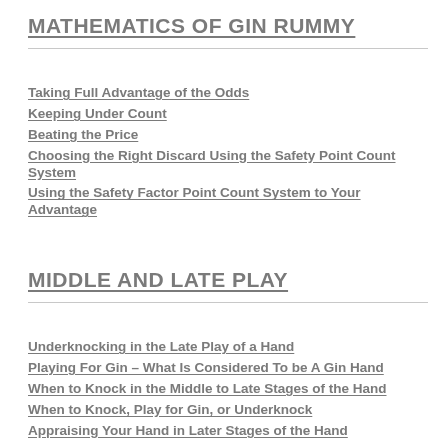MATHEMATICS OF GIN RUMMY
Taking Full Advantage of the Odds
Keeping Under Count
Beating the Price
Choosing the Right Discard Using the Safety Point Count System
Using the Safety Factor Point Count System to Your Advantage
MIDDLE AND LATE PLAY
Underknocking in the Late Play of a Hand
Playing For Gin – What Is Considered To be A Gin Hand
When to Knock in the Middle to Late Stages of the Hand
When to Knock, Play for Gin, or Underknock
Appraising Your Hand in Later Stages of the Hand